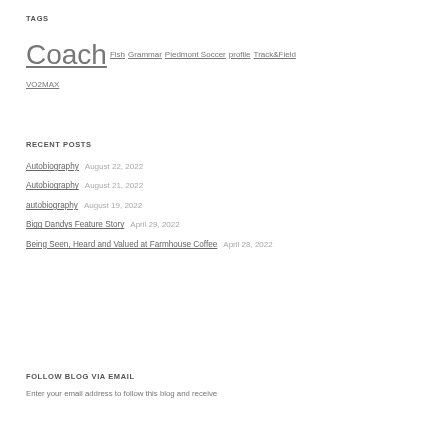TAGS
Coach  Fish  Grammar  Piedmont Soccer  profile  Track&Field  VO2MAX
RECENT POSTS
Autobiography   August 22, 2022
Autobiography   August 21, 2022
autobiography   August 19, 2022
Bigg Dandys Feature Story   April 29, 2022
Being Seen, Heard and Valued at Farmhouse Coffee   April 28, 2022
FOLLOW BLOG VIA EMAIL
Enter your email address to follow this blog and receive